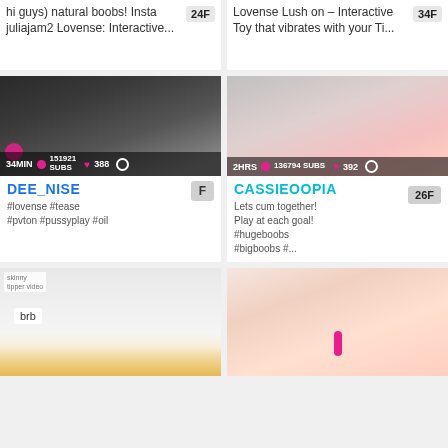[Figure (screenshot): Top partial card left: text 'hi guys) natural boobs! Insta juliajam2 Lovense: Interactive...' with age badge 24F]
[Figure (screenshot): Top partial card right: text 'Lovense Lush on – Interactive Toy that vibrates with your Ti...' with age badge 34F]
[Figure (photo): Dee_Nise stream thumbnail: dark clothing figure on bed, 34MIN, 151921 SUBS, 388 hearts]
[Figure (photo): Cassieoopia stream thumbnail: pink-haired woman, 2HRS, 136794 SUBS, 392 hearts]
DEE_NISE
#lovense #tease #pvton #pussyplay #oil
CASSIEOOPIA
Lets cum together! Play at each goal! #hugeboobs #bigboobs #...
[Figure (screenshot): Bottom left card: brb screen, light background with gold glitter at bottom]
[Figure (photo): Bottom right card: blonde woman on white background]